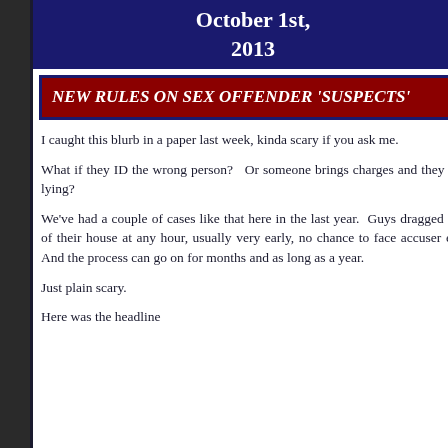October 1st, 2013
NEW RULES ON SEX OFFENDER 'SUSPECTS'
I caught this blurb in a paper last week, kinda scary if you ask me.
What if they ID the wrong person?  Or someone brings charges and they are lying?
We've had a couple of cases like that here in the last year.  Guys dragged out of their house at any hour, usually very early, no chance to face accuser etc. And the process can go on for months and as long as a year.
Just plain scary.
Here was the headline